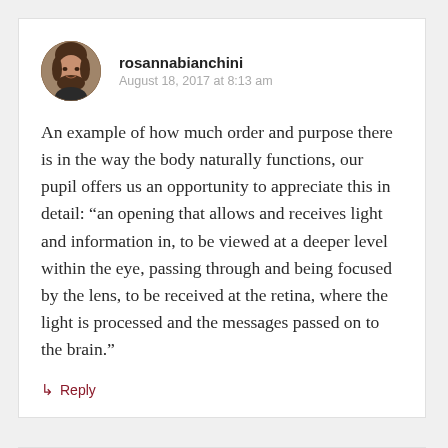rosannabianchini
August 18, 2017 at 8:13 am
An example of how much order and purpose there is in the way the body naturally functions, our pupil offers us an opportunity to appreciate this in detail: “an opening that allows and receives light and information in, to be viewed at a deeper level within the eye, passing through and being focused by the lens, to be received at the retina, where the light is processed and the messages passed on to the brain.”
↳ Reply